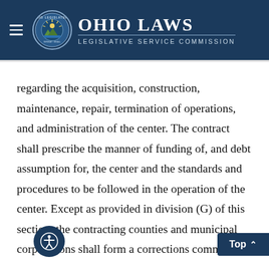Ohio Laws — Legislative Service Commission
regarding the acquisition, construction, maintenance, repair, termination of operations, and administration of the center. The contract shall prescribe the manner of funding of, and debt assumption for, the center and the standards and procedures to be followed in the operation of the center. Except as provided in division (G) of this section, the contracting counties and municipal corporations shall form a corrections commission to oversee the administration of the center. Me... of the corrections shall be one of the sheriffs...